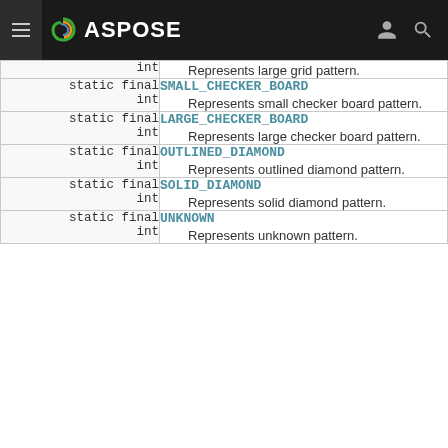ASPOSE
| Type | Field/Description |
| --- | --- |
| static final int | SMALL_CHECKER_BOARD
Represents small checker board pattern. |
| static final int | LARGE_CHECKER_BOARD
Represents large checker board pattern. |
| static final int | OUTLINED_DIAMOND
Represents outlined diamond pattern. |
| static final int | SOLID_DIAMOND
Represents solid diamond pattern. |
| static final int | UNKNOWN
Represents unknown pattern. |